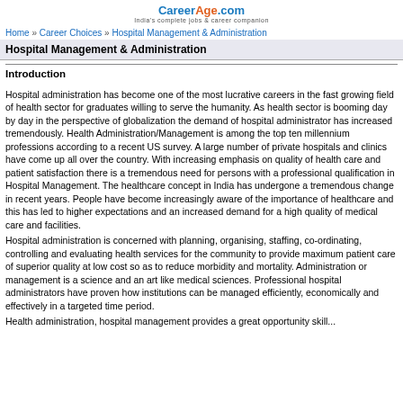[Figure (logo): CareerAge.com logo with tagline 'India's complete jobs & career companion']
Home » Career Choices » Hospital Management & Administration
Hospital Management & Administration
Introduction
Hospital administration has become one of the most lucrative careers in the fast growing field of health sector for graduates willing to serve the humanity. As health sector is booming day by day in the perspective of globalization the demand of hospital administrator has increased tremendously. Health Administration/Management is among the top ten millennium professions according to a recent US survey. A large number of private hospitals and clinics have come up all over the country. With increasing emphasis on quality of health care and patient satisfaction there is a tremendous need for persons with a professional qualification in Hospital Management. The healthcare concept in India has undergone a tremendous change in recent years. People have become increasingly aware of the importance of healthcare and this has led to higher expectations and an increased demand for a high quality of medical care and facilities.
Hospital administration is concerned with planning, organising, staffing, co-ordinating, controlling and evaluating health services for the community to provide maximum patient care of superior quality at low cost so as to reduce morbidity and mortality. Administration or management is a science and an art like medical sciences. Professional hospital administrators have proven how institutions can be managed efficiently, economically and effectively in a targeted time period.
Health administration, hospital management provides a great opportunity skill...